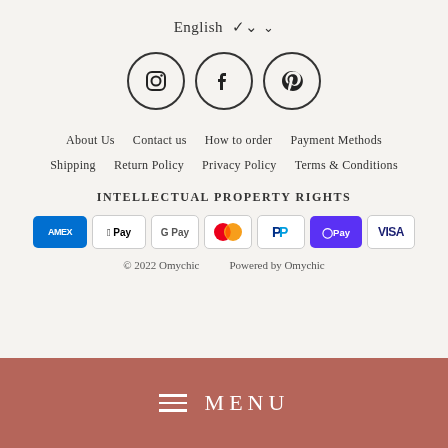English ∨
[Figure (illustration): Three social media icons in circles: Instagram, Facebook, Pinterest]
About Us   Contact us   How to order   Payment Methods
Shipping   Return Policy   Privacy Policy   Terms & Conditions
INTELLECTUAL PROPERTY RIGHTS
[Figure (illustration): Payment method badges: AMEX, Apple Pay, Google Pay, Mastercard, PayPal, Shop Pay, VISA]
© 2022 Omychic   Powered by Omychic
≡ MENU